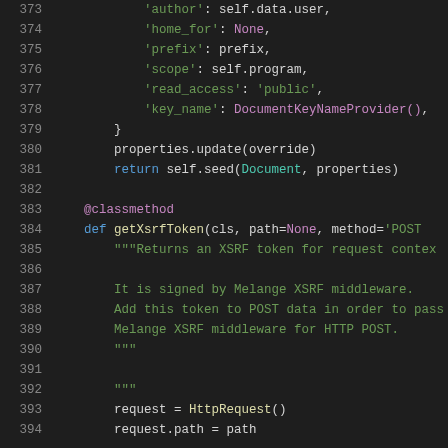Code listing lines 373-394, Python source code